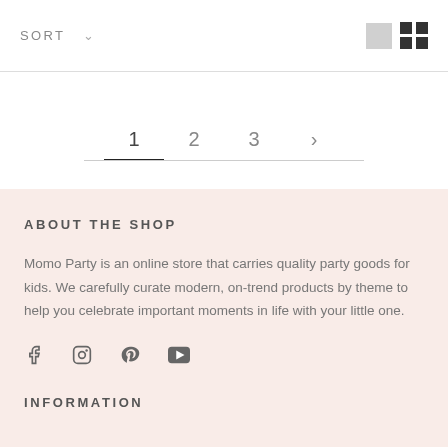SORT
1
2
3
ABOUT THE SHOP
Momo Party is an online store that carries quality party goods for kids. We carefully curate modern, on-trend products by theme to help you celebrate important moments in life with your little one.
INFORMATION